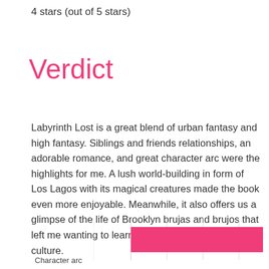4 stars (out of 5 stars)
Verdict
Labyrinth Lost is a great blend of urban fantasy and high fantasy. Siblings and friends relationships, an adorable romance, and great character arc were the highlights for me. A lush world-building in form of Los Lagos with its magical creatures made the book even more enjoyable. Meanwhile, it also offers us a glimpse of the life of Brooklyn brujas and brujos that left me wanting to learn more of the Latin American culture.
[Figure (bar-chart): Partial horizontal bar chart visible at bottom, showing 'Character arc' bar in pink]